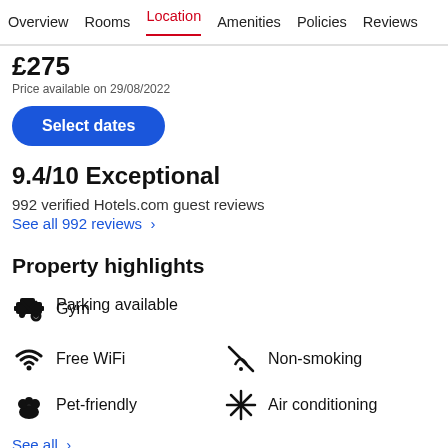Overview  Rooms  Location  Amenities  Policies  Reviews
£275  Price available on 29/08/2022
Select dates
9.4/10 Exceptional
992 verified Hotels.com guest reviews
See all 992 reviews >
Property highlights
Parking available
Gym
Free WiFi
Non-smoking
Pet-friendly
Air conditioning
See all >
[Figure (map): Street map showing The Postal Museum location]